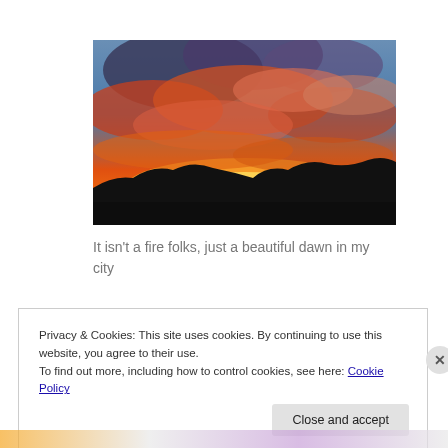[Figure (photo): A dramatic sunrise/dawn sky with vivid orange, red, and pink clouds over a dark silhouetted cityscape/hills. The sky is brilliantly lit with fiery colors against a blue upper sky.]
It isn't a fire folks, just a beautiful dawn in my city
Privacy & Cookies: This site uses cookies. By continuing to use this website, you agree to their use.
To find out more, including how to control cookies, see here: Cookie Policy
Close and accept